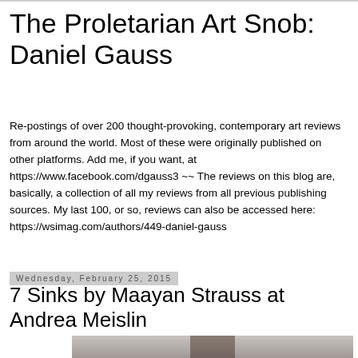The Proletarian Art Snob: Daniel Gauss
Re-postings of over 200 thought-provoking, contemporary art reviews from around the world. Most of these were originally published on other platforms. Add me, if you want, at https://www.facebook.com/dgauss3 ~~ The reviews on this blog are, basically, a collection of all my reviews from all previous publishing sources. My last 100, or so, reviews can also be accessed here: https://wsimag.com/authors/449-daniel-gauss
Wednesday, February 25, 2015
7 Sinks by Maayan Strauss at Andrea Meislin
[Figure (photo): Partial view of an artwork or installation, cropped at bottom of page]